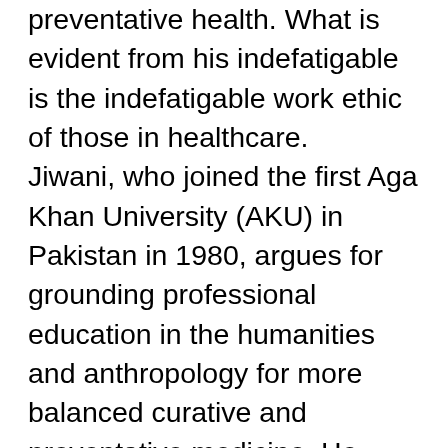preventative health. What is evident from his indefatigable work ethic is the indefatigable work ethic of those in healthcare. Jiwani, who joined the first Aga Khan University (AKU) in Pakistan in 1980, argues for grounding professional education in the humanities and anthropology for more balanced curative and preventative medicine. He spearheaded the integration of training that emphasises critical reflective skills, problem-solving, leadership qualities, inclusivity, and a humanistic outlook to advance the education of doctors and health workers in “developing” countries. Jiwani became a professor at the University of British Columbia – yet his journey started in Makerere University in Uganda. He then travelled to Norway and parts of Europe and Canada where he obtained further education at institutions such as the Karolinska Institutet in Sweden, and then Toronto General Hospital.